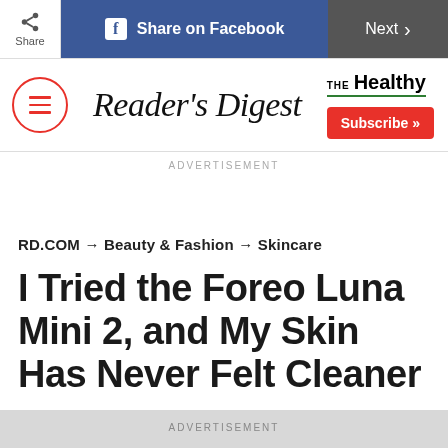Share | Share on Facebook | Next >
[Figure (logo): Reader's Digest logo with hamburger menu icon and THE Healthy branding with Subscribe button]
ADVERTISEMENT
RD.COM → Beauty & Fashion → Skincare
I Tried the Foreo Luna Mini 2, and My Skin Has Never Felt Cleaner
ADVERTISEMENT